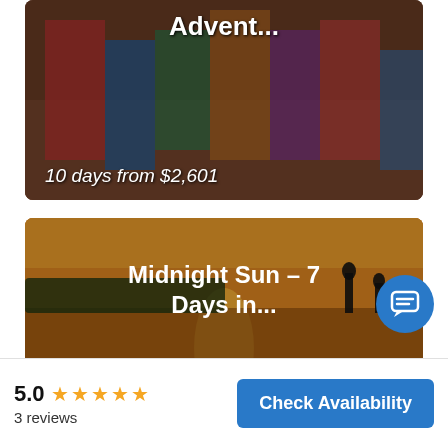[Figure (photo): Partial travel card showing people in colorful traditional clothing, title 'Advent...' and price '10 days from $2,601']
[Figure (photo): Travel card showing a sunset over water with silhouetted figures on a dock, title 'Midnight Sun – 7 Days in...' and price '7 days from $1,982']
[Figure (photo): Travel card showing a safari jeep in green savanna, title 'BIG 5 SAFARI - MID-RANGE...' and price '7 days from $3,363' (partially cut off)]
5.0
3 reviews
Check Availability